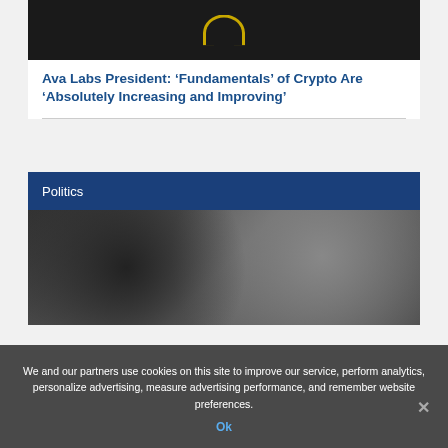[Figure (photo): Dark image at top of article card, partially visible, appears to show a gold/yellow circular emblem on black background]
Ava Labs President: ‘Fundamentals’ of Crypto Are ‘Absolutely Increasing and Improving’
Politics
[Figure (photo): Photo of a wrestling/sports event scene with people including a figure with blonde hair being grabbed, cameras in the background, crowd visible]
We and our partners use cookies on this site to improve our service, perform analytics, personalize advertising, measure advertising performance, and remember website preferences.
Ok